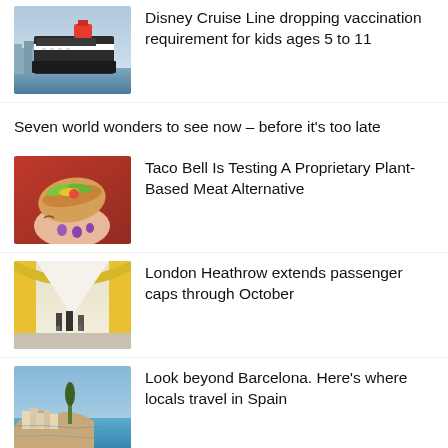[Figure (photo): Large cruise ship at sea, dark hull, city skyline in background]
Disney Cruise Line dropping vaccination requirement for kids ages 5 to 11
Seven world wonders to see now – before it's too late
[Figure (photo): Person holding a taco with purple nail polish, close up]
Taco Bell Is Testing A Proprietary Plant-Based Meat Alternative
[Figure (photo): Airport terminal corridor with travelers walking, yellow walls]
London Heathrow extends passenger caps through October
[Figure (photo): Coastal Spanish town with blue sea, hillside buildings and a tall tree]
Look beyond Barcelona. Here's where locals travel in Spain
The perfect cruise line for you, what hoevou